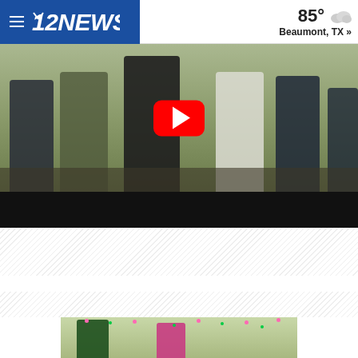12NEWS — 85° Beaumont, TX »
[Figure (screenshot): Video thumbnail showing several people outdoors near storm debris, with a red YouTube play button overlay in the center]
[Figure (photo): People celebrating with colorful confetti, a man in green shirt and woman in pink shirt laughing]